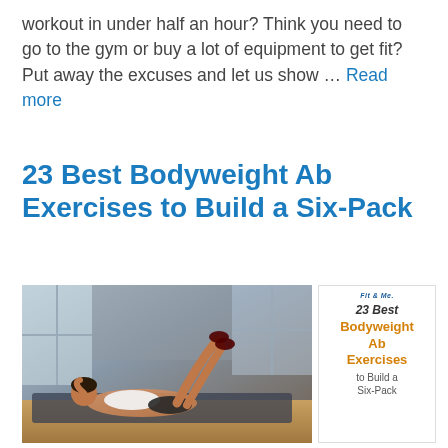workout in under half an hour? Think you need to go to the gym or buy a lot of equipment to get fit? Put away the excuses and let us show … Read more
23 Best Bodyweight Ab Exercises to Build a Six-Pack
[Figure (photo): Woman doing crunches/ab exercises on a mat on a gym floor with windows in the background, alongside a thumbnail card showing the article title '23 Best Bodyweight Ab Exercises to Build a Six-Pack' with a logo and orange text.]